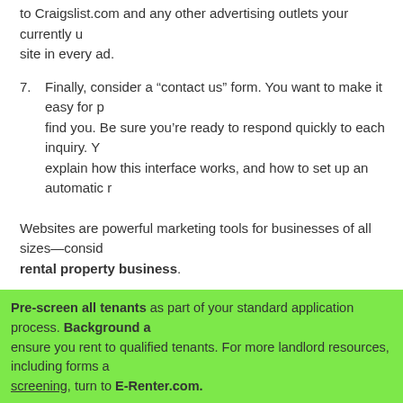to Craigslist.com and any other advertising outlets your currently u site in every ad.
7. Finally, consider a "contact us" form. You want to make it easy for p find you. Be sure you're ready to respond quickly to each inquiry. Y explain how this interface works, and how to set up an automatic r
Websites are powerful marketing tools for businesses of all sizes—consid rental property business.
Pre-screen all tenants as part of your standard application process. Background a ensure you rent to qualified tenants. For more landlord resources, including forms a screening, turn to E-Renter.com.
Tags: Developing a Website for Rental Property, Landlord Website, Marketing for Management, Websites for Landlords
home top